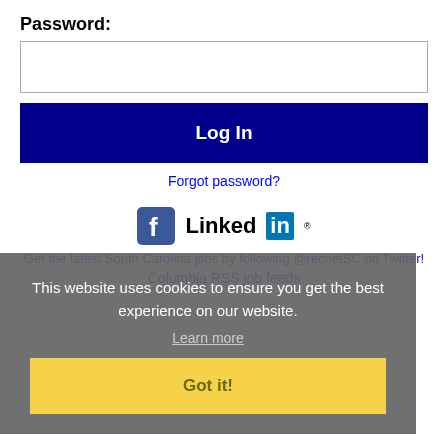Password:
[Figure (screenshot): Password input field (empty text box)]
Log In
Forgot password?
[Figure (logo): Facebook logo icon and LinkedIn logo]
Get the latest South Carolina jobs by following @recnetSC on Twitter!
Columbia RSS job feeds
This website uses cookies to ensure you get the best experience on our website.
Learn more
Got it!